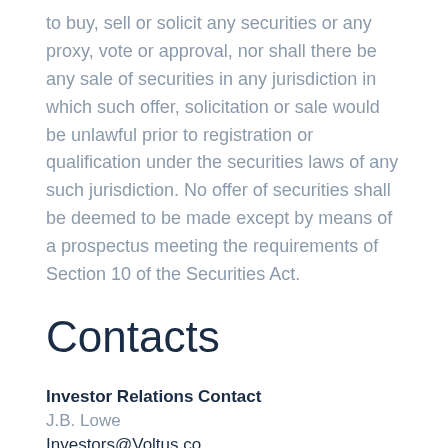to buy, sell or solicit any securities or any proxy, vote or approval, nor shall there be any sale of securities in any jurisdiction in which such offer, solicitation or sale would be unlawful prior to registration or qualification under the securities laws of any such jurisdiction. No offer of securities shall be deemed to be made except by means of a prospectus meeting the requirements of Section 10 of the Securities Act.
Contacts
Investor Relations Contact
J.B. Lowe
Investors@Voltus.co
Media Contact
Matt Dallas, ICR, Inc.